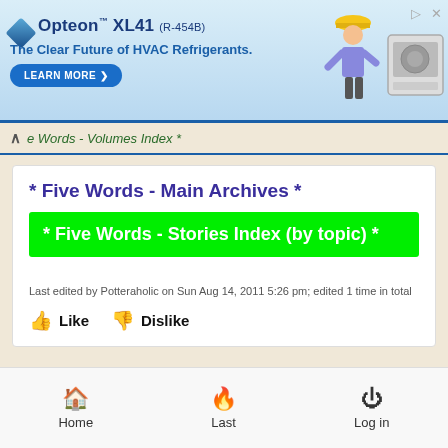[Figure (illustration): Opteon XL41 (R-454B) HVAC refrigerant advertisement banner with blue gradient background, diamond logo, worker illustration, and 'Learn More' button]
e Words - Volumes Index *
* Five Words - Main Archives *
* Five Words - Stories Index (by topic) *
Last edited by Potteraholic on Sun Aug 14, 2011 5:26 pm; edited 1 time in total
Like   Dislike
[Figure (illustration): User avatar showing a stylized creature/character in teal and dark colors]
Home   Last   Log in